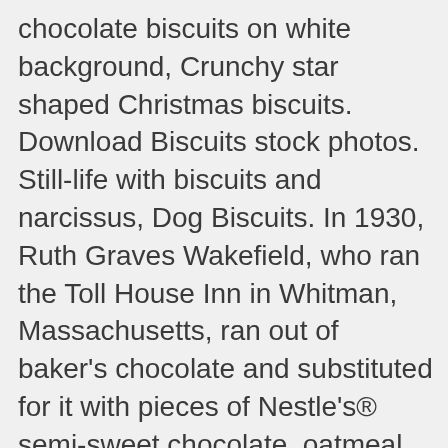chocolate biscuits on white background, Crunchy star shaped Christmas biscuits. Download Biscuits stock photos. Still-life with biscuits and narcissus, Dog Biscuits. In 1930, Ruth Graves Wakefield, who ran the Toll House Inn in Whitman, Massachusetts, ran out of baker's chocolate and substituted for it with pieces of Nestle's® semi-sweet chocolate. oatmeal cookies or biscuits with oats, nuts, eggs and flour on brown dark woodenboard with black background, side view. Download biscuits free images from StockFreeImages. Cookies on wooden table. Animal Cookies 20. Bake Christmas Biscuits. Southern style sausage gravy and biscuits. A shot of an assortment of biscuits on a white background, Buttermilk Biscuits. Appetizing golden yellow colour, Fan wafer biscuits. 41 21 28. A casserole with white